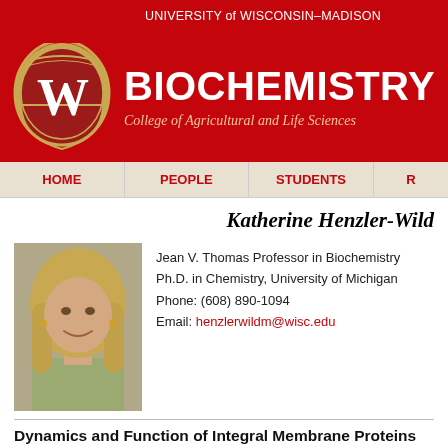UNIVERSITY of WISCONSIN–MADISON
[Figure (logo): University of Wisconsin–Madison shield/crest logo in gold and red with W]
BIOCHEMISTRY
College of Agricultural and Life Sciences
HOME | PEOPLE | STUDENTS
Katherine Henzler-Wild
[Figure (photo): Headshot photo of Katherine Henzler-Wildman, woman with long blonde hair wearing a light green top, smiling]
Jean V. Thomas Professor in Biochemistry
Ph.D. in Chemistry, University of Michigan
Phone: (608) 890-1094
Email: henzlerwildm@wisc.edu
Dynamics and Function of Integral Membrane Proteins
Many membrane proteins are active molecules that move molecules or relay signals across membrane barriers. To fully understand the function of these